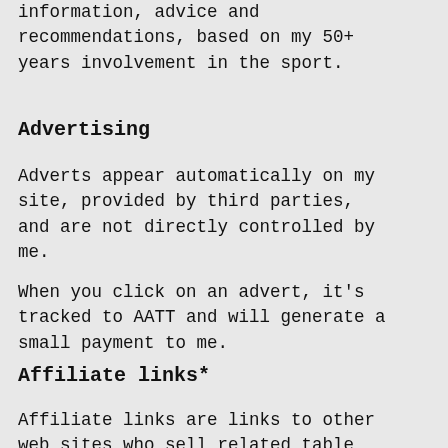information, advice and recommendations, based on my 50+ years involvement in the sport.
Advertising
Adverts appear automatically on my site, provided by third parties, and are not directly controlled by me.
When you click on an advert, it's tracked to AATT and will generate a small payment to me.
Affiliate links*
Affiliate links are links to other web sites who sell related table